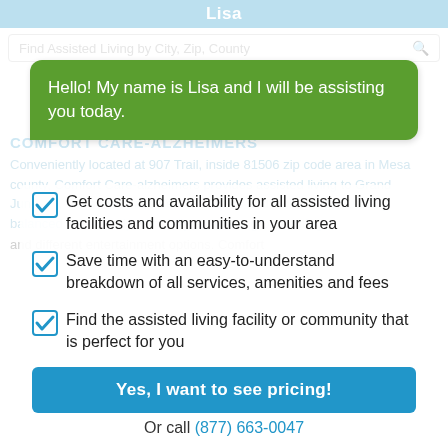Lisa
Find Assisted Living by City, Zip, County
Hello! My name is Lisa and I will be assisting you today.
Get costs and availability for all assisted living facilities and communities in your area
Save time with an easy-to-understand breakdown of all services, amenities and fees
Find the assisted living facility or community that is perfect for you
Yes, I want to see pricing!
Or call (877) 663-0047
COMFORT CARE-ALZHEIMERS
Conveniently located at 907 Trail, inside 81506 zip code area in Mesa county, Comfort Care-alzheimers provides assisted living to Grand Junction, CO seniors and senior couples and includes ser... nutritionally balanced meals, help with daily activities, group outings and different entertainment options. Comfort